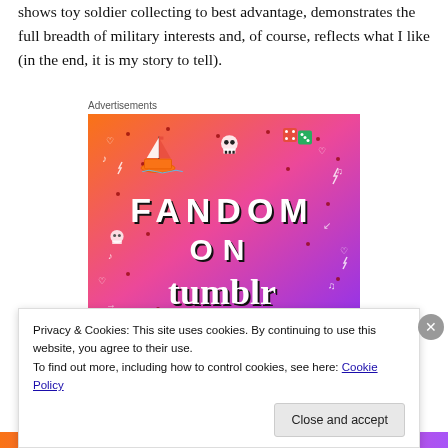shows toy soldier collecting to best advantage, demonstrates the full breadth of military interests and, of course, reflects what I like (in the end, it is my story to tell).
Advertisements
[Figure (illustration): Fandom on Tumblr advertisement banner with colorful gradient background (orange to purple) featuring doodles, skulls, a sailboat, and bold text reading FANDOM ON tumblr]
Privacy & Cookies: This site uses cookies. By continuing to use this website, you agree to their use.
To find out more, including how to control cookies, see here: Cookie Policy
Close and accept